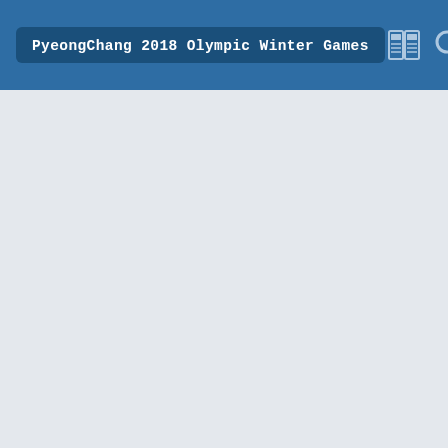PyeongChang 2018 Olympic Winter Games
[Figure (screenshot): Empty content area with light blue-grey background below the navigation header]